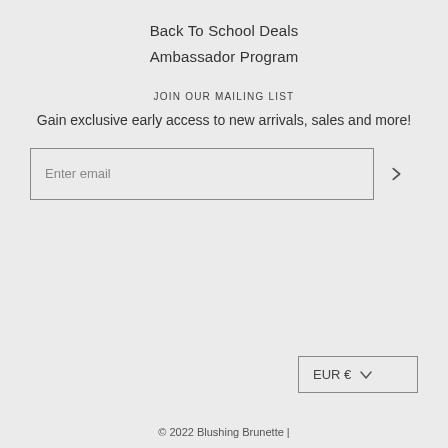Back To School Deals
Ambassador Program
JOIN OUR MAILING LIST
Gain exclusive early access to new arrivals, sales and more!
Enter email
EUR € ∨
© 2022 Blushing Brunette |